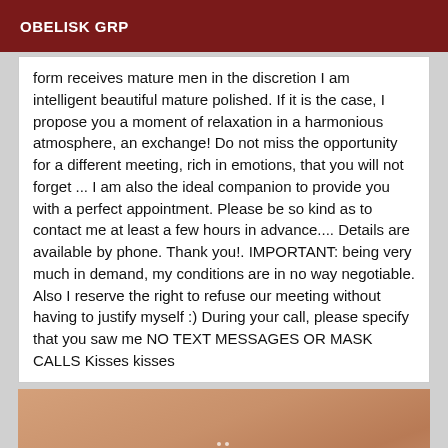OBELISK GRP
form receives mature men in the discretion I am intelligent beautiful mature polished. If it is the case, I propose you a moment of relaxation in a harmonious atmosphere, an exchange! Do not miss the opportunity for a different meeting, rich in emotions, that you will not forget ... I am also the ideal companion to provide you with a perfect appointment. Please be so kind as to contact me at least a few hours in advance.... Details are available by phone. Thank you!. IMPORTANT: being very much in demand, my conditions are in no way negotiable. Also I reserve the right to refuse our meeting without having to justify myself :) During your call, please specify that you saw me NO TEXT MESSAGES OR MASK CALLS Kisses kisses
[Figure (photo): Close-up photo showing skin/body, warm tan/peach tones with subtle highlight dots visible]